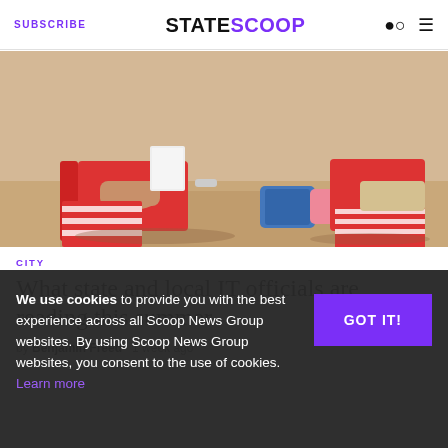SUBSCRIBE | STATESCOOP
[Figure (photo): Beach scene with people sitting in red folding chairs on sand with beach bags and towels around them]
CITY
What state and local IT officials are reading this summer
by Benjamin Freed · 1 week ago
We use cookies to provide you with the best experience across all Scoop News Group websites. By using Scoop News Group websites, you consent to the use of cookies. Learn more
GOT IT!
Free Wi-Fi rolled out to 40,000